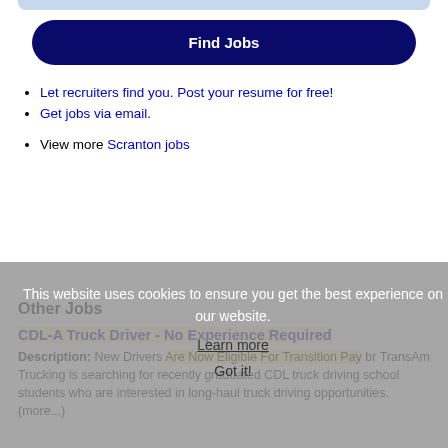[Figure (other): Light blue rounded rectangle bar at top of page]
Find Jobs
Let recruiters find you. Post your resume for free!
Get jobs via email.
View more Scranton jobs
This website uses cookies to ensure you get the best experience on our website.
Learn more
Other Jobs
CDL-A Truck Driver - No Experience Required
Description: New Drivers Are Now Eligible For Transition Pay br TransAm Trucking is searching for recently graduated CDL truck driving school students who are interested in long-haul truck driving opportunities. (more...)